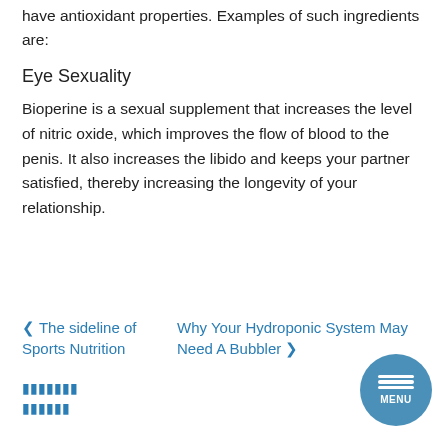have antioxidant properties. Examples of such ingredients are:
Eye Sexuality
Bioperine is a sexual supplement that increases the level of nitric oxide, which improves the flow of blood to the penis. It also increases the libido and keeps your partner satisfied, thereby increasing the longevity of your relationship.
❮ The sideline of Sports Nutrition
Why Your Hydroponic System May Need A Bubbler ❯
▮▮▮▮▮▮▮
▮▮▮▮▮▮